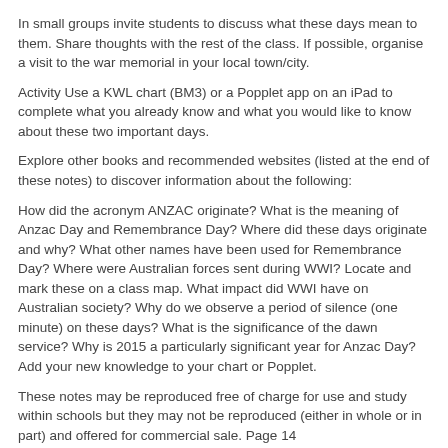In small groups invite students to discuss what these days mean to them. Share thoughts with the rest of the class. If possible, organise a visit to the war memorial in your local town/city.
Activity Use a KWL chart (BM3) or a Popplet app on an iPad to complete what you already know and what you would like to know about these two important days.
Explore other books and recommended websites (listed at the end of these notes) to discover information about the following:
How did the acronym ANZAC originate? What is the meaning of Anzac Day and Remembrance Day? Where did these days originate and why? What other names have been used for Remembrance Day? Where were Australian forces sent during WWI? Locate and mark these on a class map. What impact did WWI have on Australian society? Why do we observe a period of silence (one minute) on these days? What is the significance of the dawn service? Why is 2015 a particularly significant year for Anzac Day? Add your new knowledge to your chart or Popplet.
These notes may be reproduced free of charge for use and study within schools but they may not be reproduced (either in whole or in part) and offered for commercial sale. Page 14